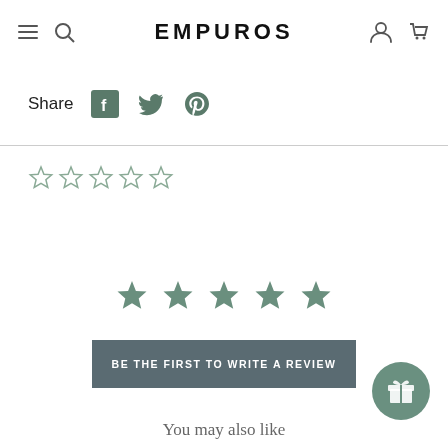EMPUROS
Share
[Figure (screenshot): Outline star rating (0 of 5 stars)]
[Figure (other): Five filled grey-green stars for review section]
BE THE FIRST TO WRITE A REVIEW
You may also like